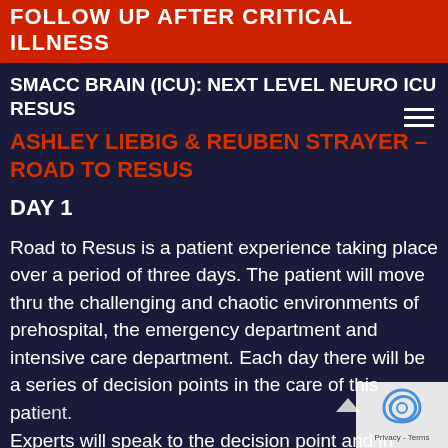FOLLOW UP AFTER CRITICAL ILLNESS
SMACC BRAIN (ICU): NEXT LEVEL NEURO ICU RESUS
ASHLEY LIEBIG & REUBEN STRAYER – ROAD TO RESUS
DAY 1
Road to Resus is a patient experience taking place over a period of three days. The patient will move thru the challenging and chaotic environments of prehospital, the emergency department and intensive care department. Each day there will be a series of decision points in the care of this patient. Experts will speak to the decision point and in some cases, debate the merits of choosing one pathway